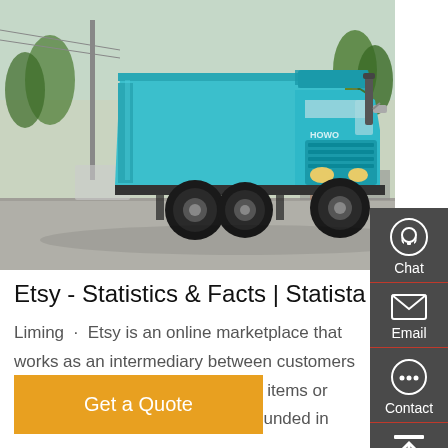[Figure (photo): A teal/turquoise Sinotruk HOWO dump truck parked on a paved area with trees and a street scene in the background.]
Etsy - Statistics & Facts | Statista
Liming · Etsy is an online marketplace that works as an intermediary between customers and artists, crafters of handmade items or collectors of vintage products. Founded in ...
Get a Quote
Chat
Email
Contact
Top